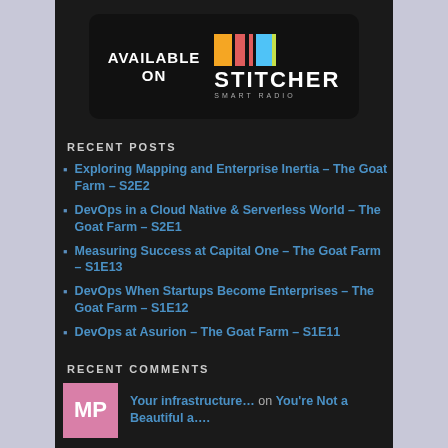[Figure (logo): Available on Stitcher Smart Radio badge with colored blocks logo on black rounded rectangle background]
RECENT POSTS
Exploring Mapping and Enterprise Inertia – The Goat Farm – S2E2
DevOps in a Cloud Native & Serverless World – The Goat Farm – S2E1
Measuring Success at Capital One – The Goat Farm – S1E13
DevOps When Startups Become Enterprises – The Goat Farm – S1E12
DevOps at Asurion – The Goat Farm – S1E11
RECENT COMMENTS
Your infrastructure… on You're Not a Beautiful a….